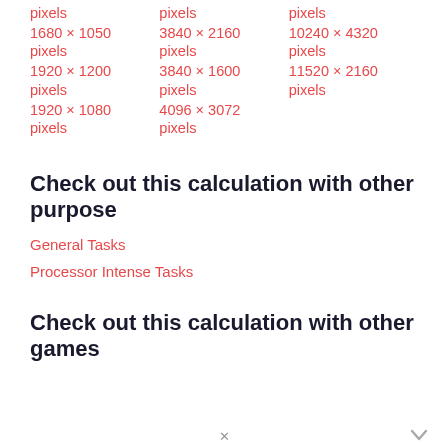pixels
1680 × 1050 pixels
1920 × 1200 pixels
1920 × 1080 pixels
pixels
3840 × 2160 pixels
3840 × 1600 pixels
4096 × 3072 pixels
pixels
10240 × 4320 pixels
11520 × 2160 pixels
Check out this calculation with other purpose
General Tasks
Processor Intense Tasks
Check out this calculation with other games